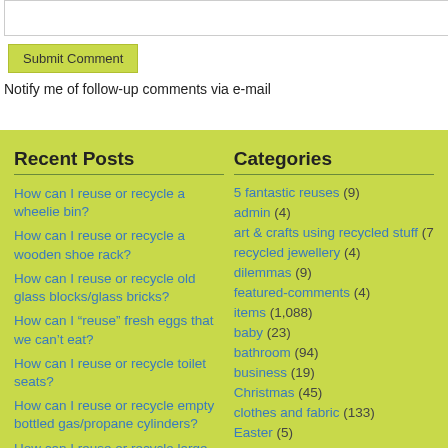Submit Comment
Notify me of follow-up comments via e-mail
Recent Posts
How can I reuse or recycle a wheelie bin?
How can I reuse or recycle a wooden shoe rack?
How can I reuse or recycle old glass blocks/glass bricks?
How can I “reuse” fresh eggs that we can’t eat?
How can I reuse or recycle toilet seats?
How can I reuse or recycle empty bottled gas/propane cylinders?
How can I reuse or recycle large (catering size) food cans?
She recycled that! Upcycling novelty hats into bunting/pennants
Categories
5 fantastic reuses (9)
admin (4)
art & crafts using recycled stuff (7)
recycled jewellery (4)
dilemmas (9)
featured-comments (4)
items (1,088)
baby (23)
bathroom (94)
business (19)
Christmas (45)
clothes and fabric (133)
Easter (5)